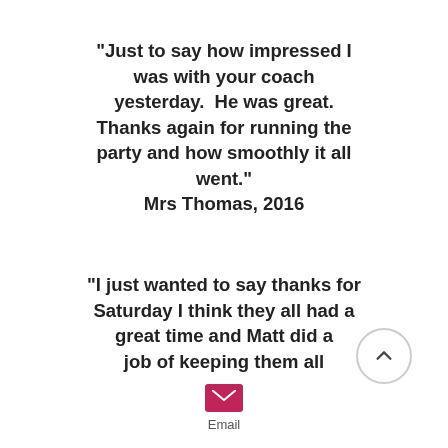"Just to say how impressed I was with your coach yesterday.  He was great. Thanks again for running the party and how smoothly it all went."
Mrs Thomas, 2016
"I just wanted to say thanks for Saturday I think they all had a great time and Matt did a job of keeping them all
[Figure (other): Circular scroll-up button with chevron arrow pointing upward]
[Figure (other): Pink/magenta email envelope icon with label 'Email' below]